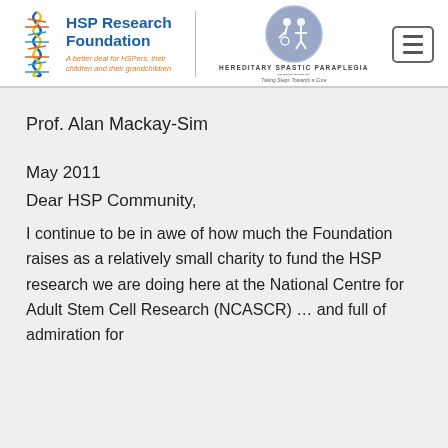HSP Research Foundation — A better deal for HSPers, their children and their grandchildren | Hereditary Spastic Paraplegia — Taking Steps Towards a Cure
Prof. Alan Mackay-Sim
May 2011
Dear HSP Community,
I continue to be in awe of how much the Foundation raises as a relatively small charity to fund the HSP research we are doing here at the National Centre for Adult Stem Cell Research (NCASCR) … and full of admiration for